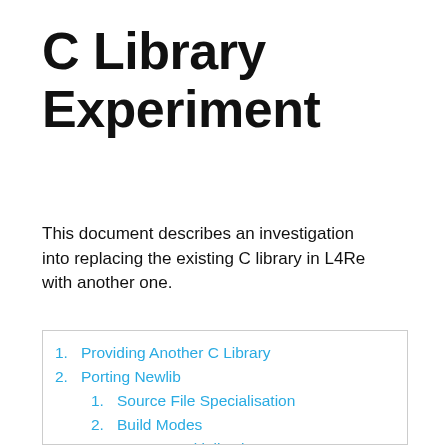C Library Experiment
This document describes an investigation into replacing the existing C library in L4Re with another one.
1. Providing Another C Library
2. Porting Newlib
2.1. Source File Specialisation
2.2. Build Modes
2.3. Program Initialisation
2.4. Wildcards, Inputs and Outputs
2.5. Mathematical Routines
2.6. Functionality Alternatives
2.7. Problematic Files
2.8. Configuration Settings
2.9. System-Specific